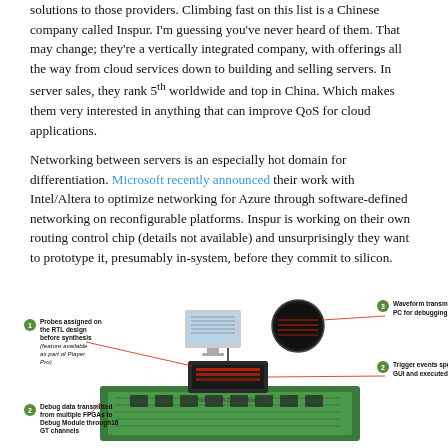solutions to those providers. Climbing fast on this list is a Chinese company called Inspur. I'm guessing you've never heard of them. That may change; they're a vertically integrated company, with offerings all the way from cloud services down to building and selling servers. In server sales, they rank 5th worldwide and top in China. Which makes them very interested in anything that can improve QoS for cloud applications.
Networking between servers is an especially hot domain for differentiation. Microsoft recently announced their work with Intel/Altera to optimize networking for Azure through software-defined networking on reconfigurable platforms. Inspur is working on their own routing control chip (details not available) and unsurprisingly they want to prototype it, presumably in-system, before they commit to silicon.
[Figure (engineering-diagram): Engineering diagram showing a Prodigy Multi-Debug Module connected to multiple FPGAs on a PCB. Labeled callouts: 1) Probes assigned on the RTL design before synthesis (feature available as part of Player Pro); 2) Debug data transmitted from multiple FPGAs to Debug Module through 16 GT channels; 3) Waveform transmitted to PC for debugging; 2) Trigger events specified in GUI and executed on chip. The diagram shows a PC monitor, a debug module, and a green PCB circuit board.]